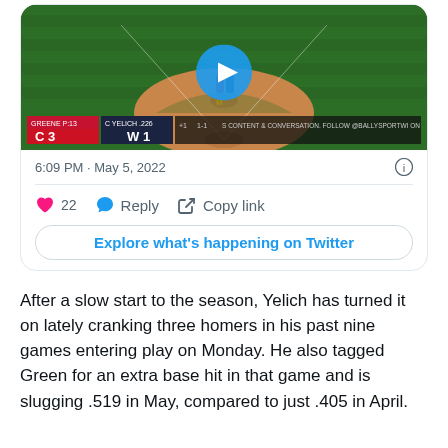[Figure (screenshot): Twitter/social media embed showing a baseball video thumbnail with scoreboard showing C 3, W 1, with a play button overlay. Below the video: timestamp '6:09 PM · May 5, 2022', like count 22, Reply and Copy link actions, and 'Explore what's happening on Twitter' button.]
After a slow start to the season, Yelich has turned it on lately cranking three homers in his past nine games entering play on Monday. He also tagged Green for an extra base hit in that game and is slugging .519 in May, compared to just .405 in April.